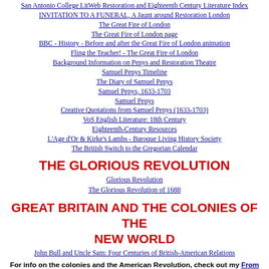San Antonio College LitWeb Restoration and Eighteenth Century Literature Index
INVITATION TO A FUNERAL, A Jaunt around Restoration London
The Great Fire of London
The Great Fire of London page
BBC - History - Before and after the Great Fire of London animation
Fling the Teacher! - The Great Fire of London
Background Information on Pepys and Restoration Theatre
Samuel Pepys Timeline
The Diary of Samuel Pepys
Samuel Pepys, 1633-1703
Samuel Pepys
Creative Quotations from Samuel Pepys (1633-1703)
VoS English Literature: 18th Century
Eighteenth-Century Resources
L'Age d'Or & Kirke's Lambs - Baroque Living History Society
The British Switch to the Gregorian Calendar
THE GLORIOUS REVOLUTION
Glorious Revolution
The Glorious Revolution of 1688
GREAT BRITAIN AND THE COLONIES OF THE NEW WORLD
John Bull and Uncle Sam: Four Centuries of British-American Relations
For info on the colonies and the American Revolution, check out my From Colonies to Revolution page.